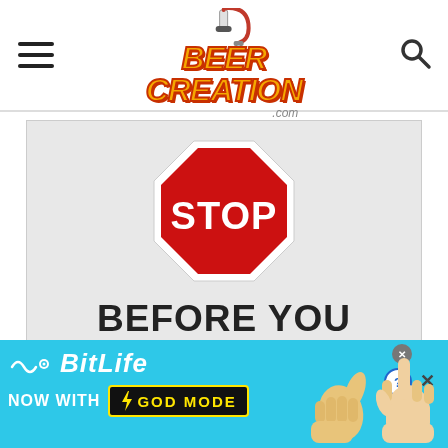Beer Creation .com — navigation header with logo, hamburger menu, and search icon
[Figure (screenshot): A STOP sign (red octagon with white border and white STOP text) above the text BEFORE YOU BREW YOUR, on a light grey background]
[Figure (infographic): BitLife advertisement banner: 'BitLife NOW WITH GOD MODE' with lightning bolt, thumbs up and pointing hand graphics on cyan background]